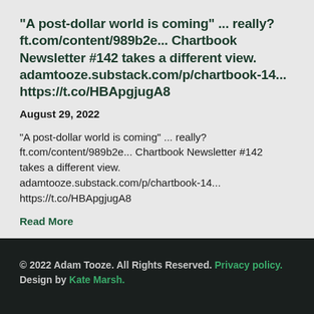"A post-dollar world is coming" ... really? ft.com/content/989b2e... Chartbook Newsletter #142 takes a different view. adamtooze.substack.com/p/chartbook-14... https://t.co/HBApgjugA8
August 29, 2022
"A post-dollar world is coming" ... really? ft.com/content/989b2e... Chartbook Newsletter #142 takes a different view. adamtooze.substack.com/p/chartbook-14... https://t.co/HBApgjugA8
Read More
© 2022 Adam Tooze. All Rights Reserved. Privacy policy. Design by Kate Marsh.